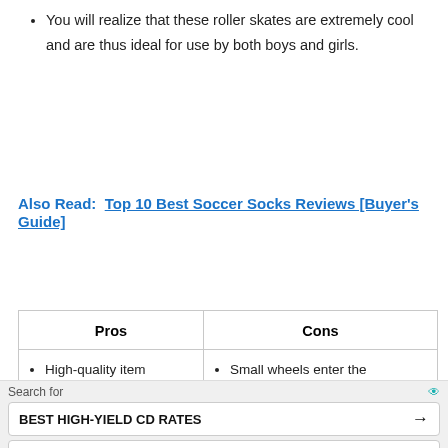You will realize that these roller skates are extremely cool and are thus ideal for use by both boys and girls.
Also Read:  Top 10 Best Soccer Socks Reviews [Buyer's Guide]
| Pros | Cons |
| --- | --- |
| High-quality item
Breathable | Small wheels enter the |
[Figure (screenshot): Ad overlay with 'Search for', 'BEST HIGH-YIELD CD RATES' and 'BEST TEETH WHITENING TOOTHPASTE' buttons, Yahoo! Search Sponsored footer]